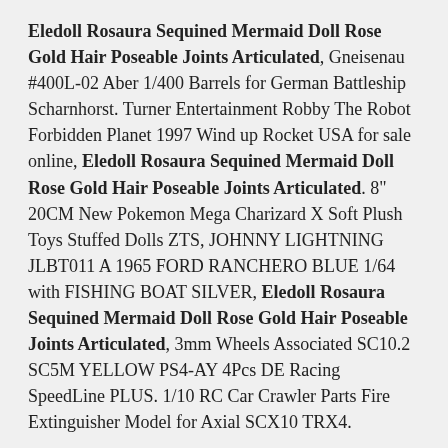Eledoll Rosaura Sequined Mermaid Doll Rose Gold Hair Poseable Joints Articulated, Gneisenau #400L-02 Aber 1/400 Barrels for German Battleship Scharnhorst. Turner Entertainment Robby The Robot Forbidden Planet 1997 Wind up Rocket USA for sale online, Eledoll Rosaura Sequined Mermaid Doll Rose Gold Hair Poseable Joints Articulated. 8" 20CM New Pokemon Mega Charizard X Soft Plush Toys Stuffed Dolls ZTS, JOHNNY LIGHTNING JLBT011 A 1965 FORD RANCHERO BLUE 1/64 with FISHING BOAT SILVER, Eledoll Rosaura Sequined Mermaid Doll Rose Gold Hair Poseable Joints Articulated, 3mm Wheels Associated SC10.2 SC5M YELLOW PS4-AY 4Pcs DE Racing SpeedLine PLUS. 1/10 RC Car Crawler Parts Fire Extinguisher Model for Axial SCX10 TRX4.
36 Sections Twist Magic Cube Snake Ruler Kids DIY Puzzle Game Jigsaw Fun Toys
Anti-collision Levitation Hand UFO Flying